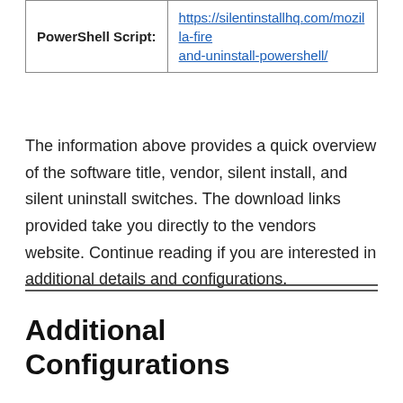| PowerShell Script: | https://silentinstallhq.com/mozilla-fire and-uninstall-powershell/ |
The information above provides a quick overview of the software title, vendor, silent install, and silent uninstall switches. The download links provided take you directly to the vendors website. Continue reading if you are interested in additional details and configurations.
Additional Configurations